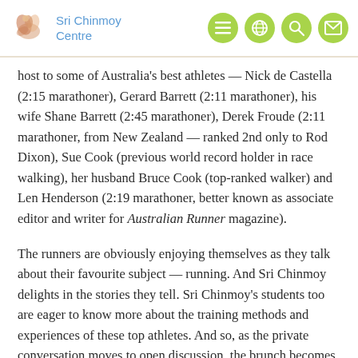Sri Chinmoy Centre
host to some of Australia's best athletes — Nick de Castella (2:15 marathoner), Gerard Barrett (2:11 marathoner), his wife Shane Barrett (2:45 marathoner), Derek Froude (2:11 marathoner, from New Zealand — ranked 2nd only to Rod Dixon), Sue Cook (previous world record holder in race walking), her husband Bruce Cook (top-ranked walker) and Len Henderson (2:19 marathoner, better known as associate editor and writer for Australian Runner magazine).
The runners are obviously enjoying themselves as they talk about their favourite subject — running. And Sri Chinmoy delights in the stories they tell. Sri Chinmoy's students too are eager to know more about the training methods and experiences of these top athletes. And so, as the private conversation moves to open discussion, the brunch becomes lunch. Questions are directed to each of the guests